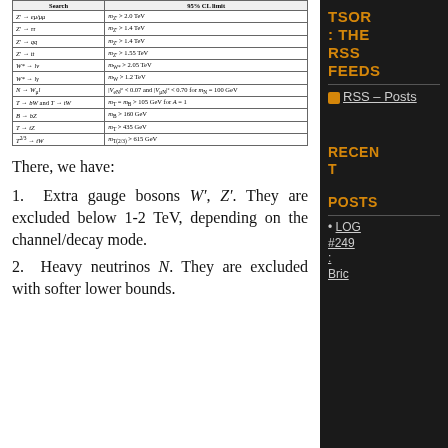| Search | 95% CL limit |
| --- | --- |
| Z' → eμ/μμ | mZ' > 2.0 TeV |
| Z' → ττ | mZ' > 1.4 TeV |
| Z' → qq | mZ' > 1.4 TeV |
| Z' → tt | mZ' > 1.55 TeV |
| W* → lν | mW* > 2.05 TeV |
| W* → lγ | mW > 1.2 TeV |
| N → Wμl | |VeN|² < 0.07 and |VμN|² < 0.70 for mN = 100 GeV |
| T → bW and T → tW | mT = mB > 105 GeV for A = 1 |
| B → bZ | mB > 160 GeV |
| T → tZ | mT > 435 GeV |
| T^(2/3) → tW | mT(2/3) > 615 GeV |
There, we have:
1.  Extra gauge bosons W′, Z′. They are excluded below 1-2 TeV, depending on the channel/decay mode.
2.  Heavy neutrinos N. They are excluded with softer lower bounds.
TSOR : THE RSS FEEDS
RSS – Posts
Recent Posts
LOG #249 : Bric...